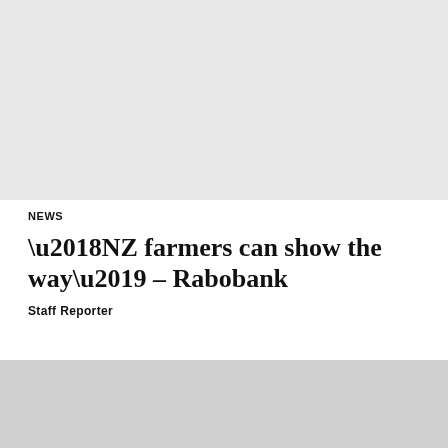[Figure (photo): Gray placeholder image at the top of the page]
NEWS
‘NZ farmers can show the way’ – Rabobank
Staff Reporter
[Figure (photo): Gray placeholder image at the bottom of the page]